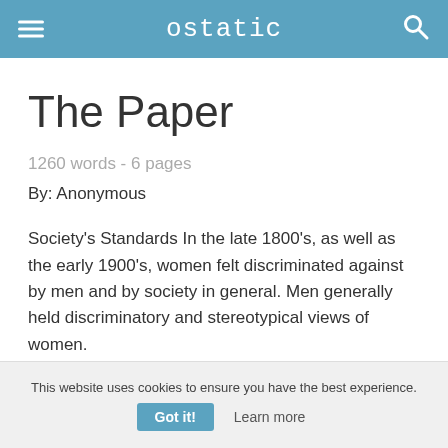ostatic
The Paper
1260 words - 6 pages
By: Anonymous
Society's Standards In the late 1800's, as well as the early 1900's, women felt discriminated against by men and by society in general. Men generally held discriminatory and stereotypical views of women.
This website uses cookies to ensure you have the best experience. Got it! Learn more